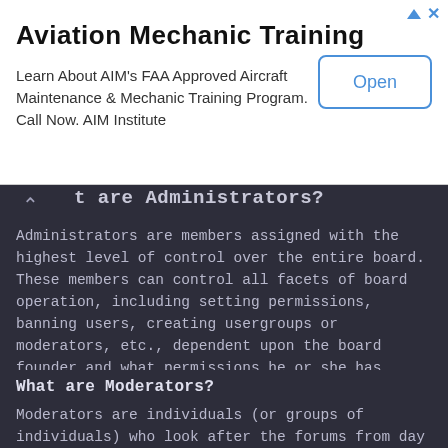[Figure (other): Advertisement banner for Aviation Mechanic Training. Title: 'Aviation Mechanic Training'. Description: 'Learn About AIM's FAA Approved Aircraft Maintenance & Mechanic Training Program. Call Now. AIM Institute'. Button: 'Open'. Icons: play triangle and X in top right.]
What are Administrators?
Administrators are members assigned with the highest level of control over the entire board. These members can control all facets of board operation, including setting permissions, banning users, creating usergroups or moderators, etc., dependent upon the board founder and what permissions he or she has given the other administrators. They may also have full moderator capabilities in all forums, depending on the settings put forth by the board founder.
⬆ Top
What are Moderators?
Moderators are individuals (or groups of individuals) who look after the forums from day to day. They have the authority to edit or delete posts and lock, unlock, move, delete and split topics in the forum they moderate. Generally,